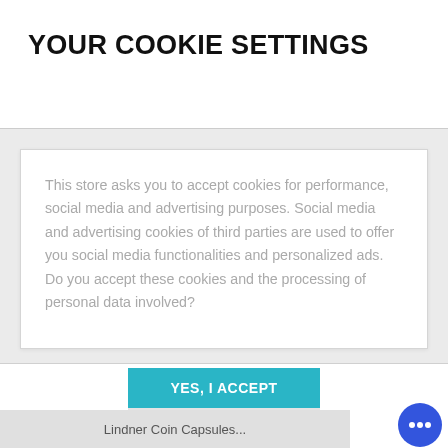YOUR COOKIE SETTINGS
This store asks you to accept cookies for performance, social media and advertising purposes. Social media and advertising cookies of third parties are used to offer you social media functionalities and personalized ads. Do you accept these cookies and the processing of personal data involved?
YES, I ACCEPT
More information
Lindner Coin Capsules...